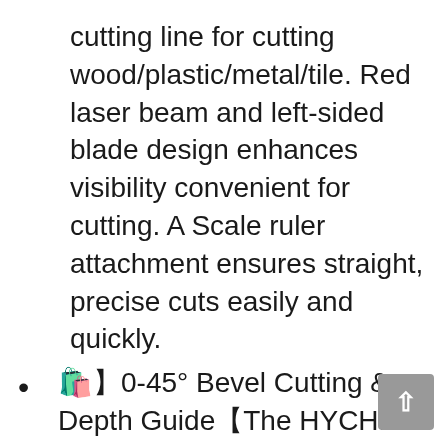cutting line for cutting wood/plastic/metal/tile. Red laser beam and left-sided blade design enhances visibility convenient for cutting. A Scale ruler attachment ensures straight, precise cuts easily and quickly.
🛍️0-45° Bevel Cutting & Depth Guide】The HYCHIKA compact circular saw allows you to change your cutting angle freely from 0° to 45°(50° max). Equipped with adjustable cutting depth, the max cutting depth of 1-11/16"